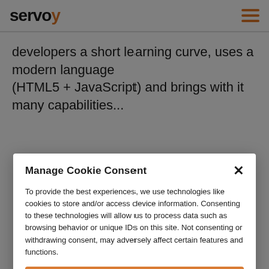servoy
developers a short learning curve, uses a modern language (HTML5 + JavaScript) and brings with it many capabilities...
Manage Cookie Consent
To provide the best experiences, we use technologies like cookies to store and/or access device information. Consenting to these technologies will allow us to process data such as browsing behavior or unique IDs on this site. Not consenting or withdrawing consent, may adversely affect certain features and functions.
Accept
Deny
View preferences